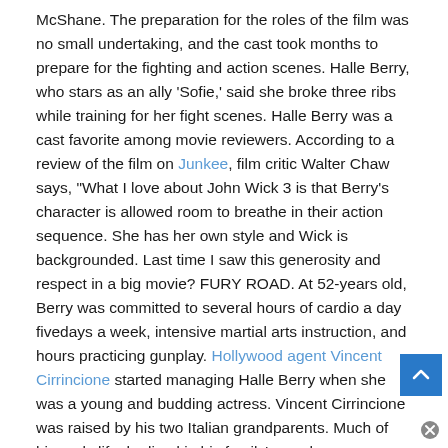McShane. The preparation for the roles of the film was no small undertaking, and the cast took months to prepare for the fighting and action scenes. Halle Berry, who stars as an ally 'Sofie,' said she broke three ribs while training for her fight scenes. Halle Berry was a cast favorite among movie reviewers. According to a review of the film on Junkee, film critic Walter Chaw says, "What I love about John Wick 3 is that Berry's character is allowed room to breathe in their action sequence. She has her own style and Wick is backgrounded. Last time I saw this generosity and respect in a big movie? FURY ROAD. At 52-years old, Berry was committed to several hours of cardio a day fivedays a week, intensive martial arts instruction, and hours practicing gunplay. Hollywood agent Vincent Cirrincione started managing Halle Berry when she was a young and budding actress. Vincent Cirrincione was raised by his two Italian grandparents. Much of his early life, he lived in his family's row house on Avenue U in Marine Park. His grandparents, grocery store owners, had a profound impact on young Vincent and instilled in him a love of work and a thirst to succeed in life. Vincent Cirrincione never expected to be one of the top American producers and talent managers. He is best k[nown] for his discovery of now-famous names such as Oscar award winner H[alle] Berry and Empire starlet Taraji Henson.